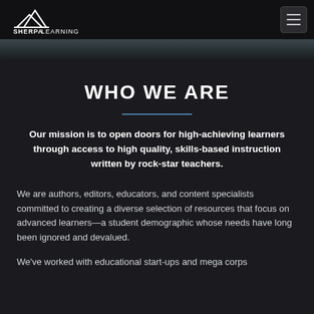SHERPALEARNING
WHO WE ARE
Our mission is to open doors for high-achieving learners through access to high quality, skills-based instruction written by rock-star teachers.
We are authors, editors, educators, and content specialists committed to creating a diverse selection of resources that focus on advanced learners—a student demographic whose needs have long been ignored and devalued.
We've worked with educational start-ups and mega corps